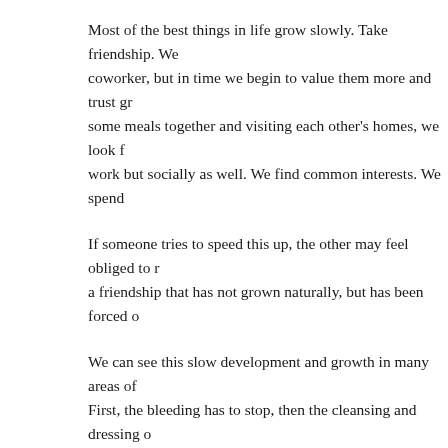Most of the best things in life grow slowly. Take friendship. We coworker, but in time we begin to value them more and trust gr some meals together and visiting each other's homes, we look f work but socially as well. We find common interests. We spend
If someone tries to speed this up, the other may feel obliged to r a friendship that has not grown naturally, but has been forced o
We can see this slow development and growth in many areas of First, the bleeding has to stop, then the cleansing and dressing o wound is very sensitive and painful with every movement. The development of new skin that forms a scar over the wound. Dur into an itch. As it continues to heal, we often forget about it, unt completely healed, the opening has knit itself together, the body prevent infection, and there simply is no wound any more. It ma really and truly healed.
So, too, is the development of ideas, spiritual growth and just ab mentally, intellectually and spiritually. Ed to grow, and healing li